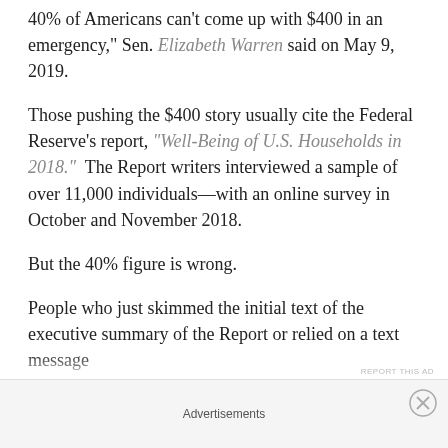40% of Americans can't come up with $400 in an emergency," Sen. Elizabeth Warren said on May 9, 2019.
Those pushing the $400 story usually cite the Federal Reserve's report, “Well-Being of U.S. Households in 2018.”  The Report writers interviewed a sample of over 11,000 individuals—with an online survey in October and November 2018.
But the 40% figure is wrong.
People who just skimmed the initial text of the executive summary of the Report or relied on a text message
Advertisements